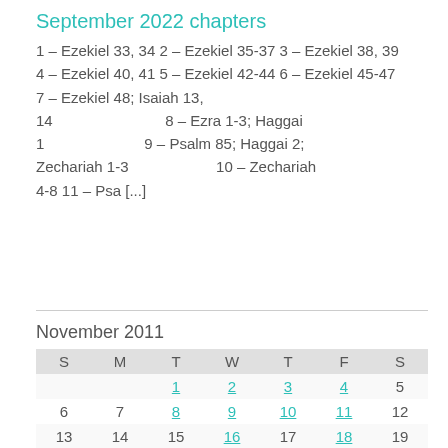September 2022 chapters
1 – Ezekiel 33, 34 2 – Ezekiel 35-37 3 – Ezekiel 38, 39 4 – Ezekiel 40, 41 5 – Ezekiel 42-44 6 – Ezekiel 45-47 7 – Ezekiel 48; Isaiah 13, 14                         8 – Ezra 1-3; Haggai 1                    9 – Psalm 85; Haggai 2; Zechariah 1-3                              10 – Zechariah 4-8 11 – Psa [...]
November 2011
| S | M | T | W | T | F | S |
| --- | --- | --- | --- | --- | --- | --- |
|  |  | 1 | 2 | 3 | 4 | 5 |
| 6 | 7 | 8 | 9 | 10 | 11 | 12 |
| 13 | 14 | 15 | 16 | 17 | 18 | 19 |
| 20 | 21 | 22 | 23 | 24 | 25 | 26 |